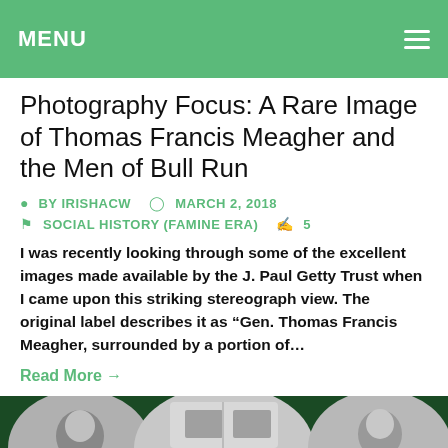MENU
Photography Focus: A Rare Image of Thomas Francis Meagher and the Men of Bull Run
BY IRISHACW   MARCH 2, 2018
SOCIAL HISTORY (FAMINE ERA)   5
I was recently looking through some of the excellent images made available by the J. Paul Getty Trust when I came upon this striking stereograph view. The original label describes it as “Gen. Thomas Francis Meagher, surrounded by a portion of...
Read More →
[Figure (photo): Partial bottom strip showing three circular historical photographs against a dark green background]